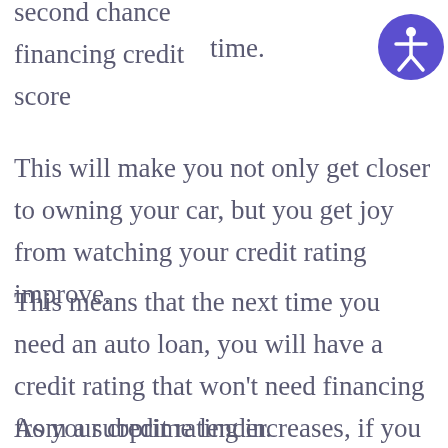second chance financing credit score
time.
[Figure (other): Accessibility icon button - blue circle with white person/accessibility symbol]
This will make you not only get closer to owning your car, but you get joy from watching your credit rating improve.
This means that the next time you need an auto loan, you will have a credit rating that won't need financing from a subprime lender.
As your credit rating increases, if you still have